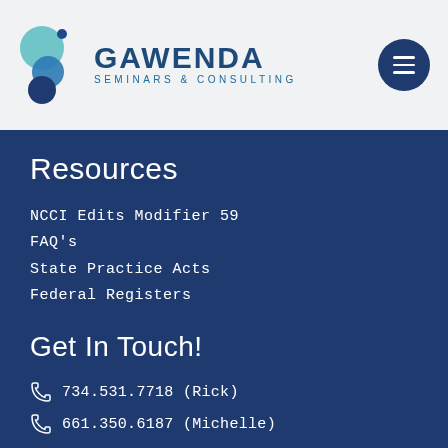[Figure (logo): Gawenda Seminars & Consulting logo with circular bubble graphic and text]
[Figure (other): Hamburger menu button (three horizontal lines) in dark navy circle]
Resources
NCCI Edits Modifier 59
FAQ's
State Practice Acts
Federal Registers
Get In Touch!
734.531.7718 (Rick)
661.350.6187 (Michelle)